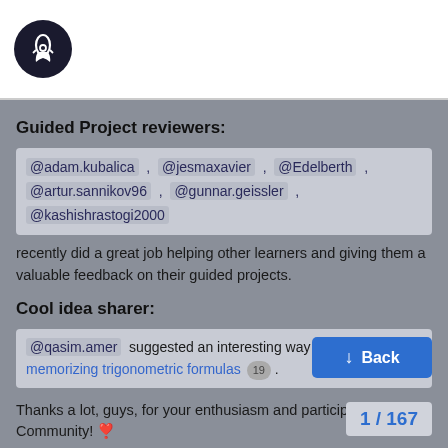[Figure (logo): Rocket/spacecraft logo in white on dark circular background]
Guided Project reviewers:
@adam.kubalica , @jesmaxavier , @Edelberth , @artur.sannikov96 , @gunnar.geissler , @kashishrastogi2000 recently did a great job helping other learners and giving them a valuable feedback on their guided projects.
Cool idea sharer:
@qasim.amer suggested an interesting way of easily memorizing trigonometric formulas 19 .
Thanks a lot, guys, for your enthusiasm and participation in our Community! ❣
I am proud to reward you with:
A 7 day extension on your current Datac
[Figure (other): Back button - blue rounded rectangle with down arrow and text 'Back']
1 / 167